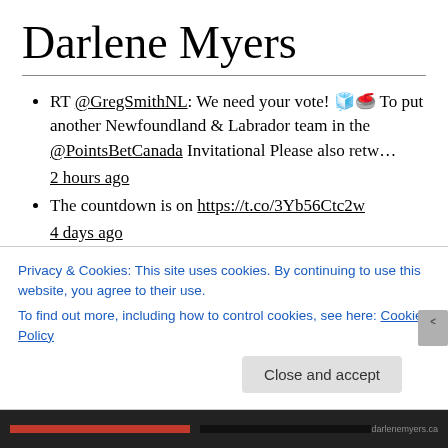Darlene Myers
RT @GregSmithNL: We need your vote! 🧊🥌 To put another Newfoundland & Labrador team in the @PointsBetCanada Invitational Please also retw… 2 hours ago
The countdown is on https://t.co/3Yb56Ctc2w 4 days ago
This week's wine blog features a cashew chicken recipe ready in 10 minutes. Wine, It's Just My Opinion… twitter.com/i/web/status/1… 1 week ago
Privacy & Cookies: This site uses cookies. By continuing to use this website, you agree to their use.
To find out more, including how to control cookies, see here: Cookie Policy